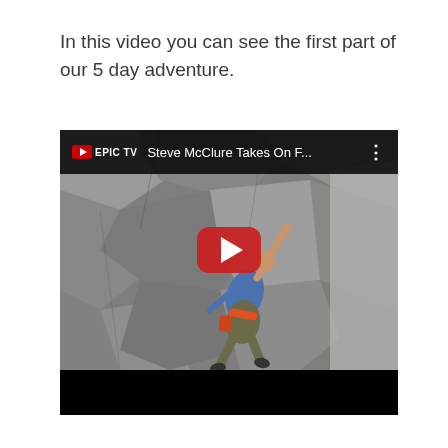In this video you can see the first part of our 5 day adventure.
[Figure (screenshot): YouTube video embed showing a rock climber on a cliff face. The video thumbnail shows a person climbing a rocky wall with one arm extended upward. The video title bar reads 'EPIC TV  Steve McClure Takes On F...' with a three-dot menu icon. A YouTube play button (red rounded rectangle with white triangle) is centered over the thumbnail. The bottom portion of the embed is black.]